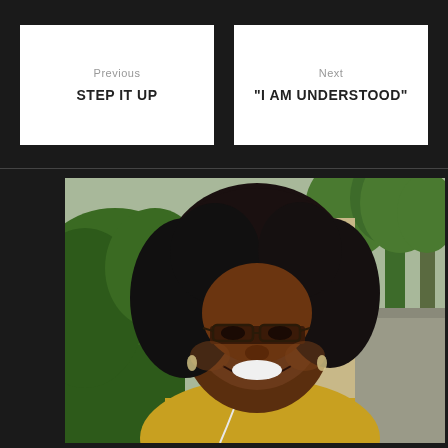Previous
STEP IT UP
Next
"I AM UNDERSTOOD"
[Figure (photo): A smiling Black woman with natural curly hair and glasses wearing a yellow top with white earbuds, taking a selfie outdoors on a sunny urban street with green trees in the background.]